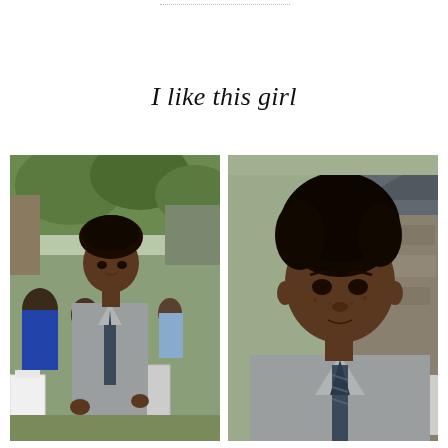I like this girl
[Figure (photo): Two side-by-side photos of a young woman wearing a gray button-up shirt and dark striped tie with an upswept natural hairstyle. Left photo shows her full upper body standing at an outdoor event with greenery and people in the background. Right photo is a closer portrait shot showing her face and upper chest, with a stone building background.]